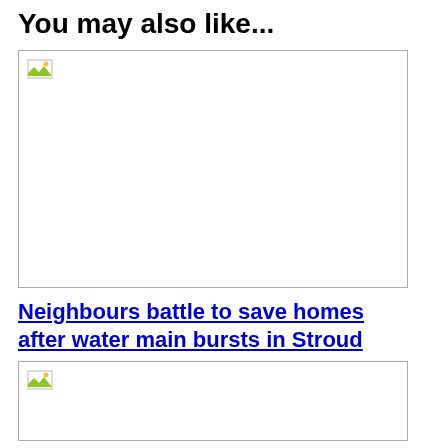You may also like...
[Figure (photo): Placeholder image with broken image icon in top-left corner, large white rectangle with border]
Neighbours battle to save homes after water main bursts in Stroud
[Figure (photo): Placeholder image with broken image icon in top-left corner, partial white rectangle with border]